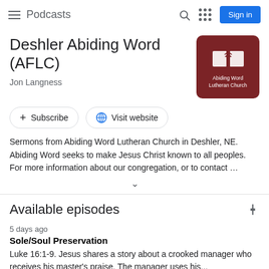Podcasts
Deshler Abiding Word (AFLC)
Jon Langness
[Figure (logo): Abiding Word Lutheran Church logo — dark red rounded square with white open book icon and text 'Abiding Word Lutheran Church']
+ Subscribe
Visit website
Sermons from Abiding Word Lutheran Church in Deshler, NE. Abiding Word seeks to make Jesus Christ known to all peoples. For more information about our congregation, or to contact ...
Available episodes
5 days ago
Sole/Soul Preservation
Luke 16:1-9. Jesus shares a story about a crooked manager who receives his master's praise. The manager uses his...